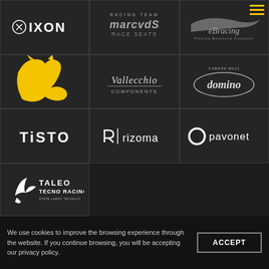[Figure (logo): IXON brand logo in white on dark background]
[Figure (logo): Marc VDS Racing Team / Race Seats logo in silver/grey on dark background]
[Figure (logo): eBracing - Premium Motorcycle Protection logo in grey on dark background]
[Figure (logo): Yellow puma/cat silhouette logo on dark background]
[Figure (logo): Vallecchio Components logo in white italic script on dark background]
[Figure (logo): Domino - Cabash M212 logo in silver oval on dark background]
[Figure (logo): TISTO logo in white bold text on dark background]
[Figure (logo): rizoma logo with geometric icon in white on dark background]
[Figure (logo): pavonet logo with circular icon in white on dark background]
[Figure (logo): Taleo Tecno Racing logo with bird icon in white on dark background]
We use cookies to improve the browsing experience through the website. If you continue browsing, you will be accepting our privacy policy.
ACCEPT